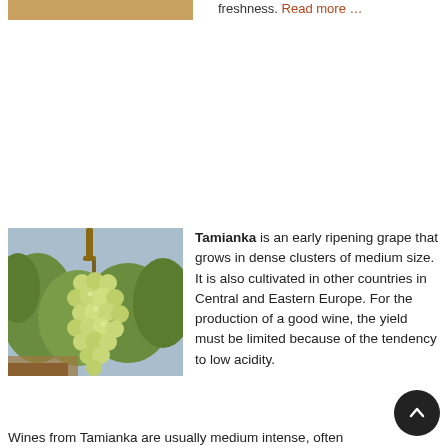[Figure (photo): Partial top image strip showing a brownish/golden colored bar, likely cropped from an image above]
freshness. Read more …
[Figure (photo): Photograph of a bunch of green/white grapes hanging from a vine, with green foliage in the background]
Tamianka is an early ripening grape that grows in dense clusters of medium size. It is also cultivated in other countries in Central and Eastern Europe. For the production of a good wine, the yield must be limited because of the tendency to low acidity.
Wines from Tamianka are usually medium intense, often